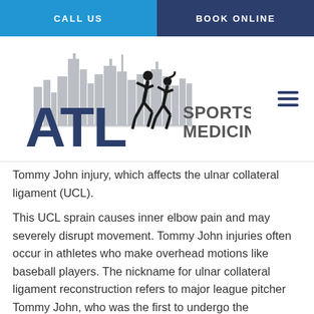CALL US | BOOK ONLINE
[Figure (logo): ATL Sports Medicine logo with city skyline silhouette and two running athletes]
Tommy John injury, which affects the ulnar collateral ligament (UCL).
This UCL sprain causes inner elbow pain and may severely disrupt movement. Tommy John injuries often occur in athletes who make overhead motions like baseball players. The nickname for ulnar collateral ligament reconstruction refers to major league pitcher Tommy John, who was the first to undergo the procedure in the mid-1970s.
A number of other conditions may cause elbow pain.